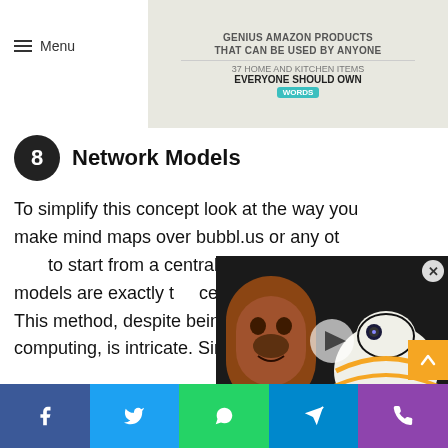Menu | Outed (logo)
[Figure (screenshot): Advertisement banner showing 'GENIUS AMAZON PRODUCTS THAT CAN BE USED BY ANYONE' and '37 HOME AND KITCHEN ITEMS EVERYONE SHOULD OWN WORDS']
8  Network Models
To simplify this concept look at the way you make mind maps over bubbl.us or any other tool. Mind maps need to start from a central theme and branch out from there. Network models are exactly the opposite of that- no center, no one parent. This method, despite being the backbone of computing, is intricate. Simpler theories
[Figure (screenshot): Video player overlay showing two Star Wars themed cakes (Chewbacca and BB-8) with play button and CLOSE bar at bottom]
Facebook | Twitter | WhatsApp | Telegram | Phone social sharing bar